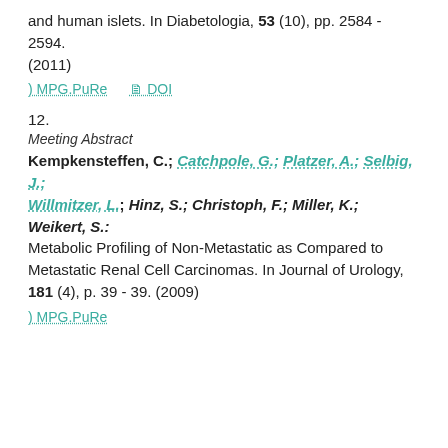and human islets. In Diabetologia, 53 (10), pp. 2584 - 2594. (2011)
MPG.PuRe   DOI
12.
Meeting Abstract
Kempkensteffen, C.; Catchpole, G.; Platzer, A.; Selbig, J.; Willmitzer, L.; Hinz, S.; Christoph, F.; Miller, K.; Weikert, S.: Metabolic Profiling of Non-Metastatic as Compared to Metastatic Renal Cell Carcinomas. In Journal of Urology, 181 (4), p. 39 - 39. (2009)
MPG.PuRe